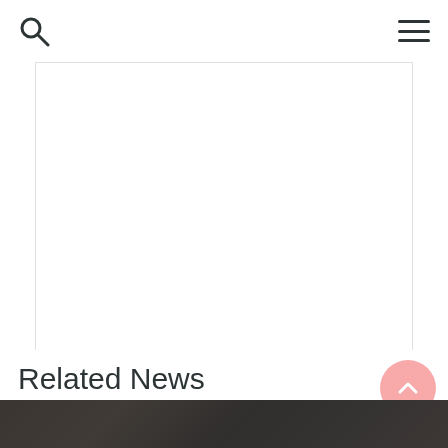Search and Menu navigation header
[Figure (other): White advertisement/content area placeholder]
Related News
[Figure (photo): Group of people, appears to be politicians or public figures at a press event or gathering, photographed indoors]